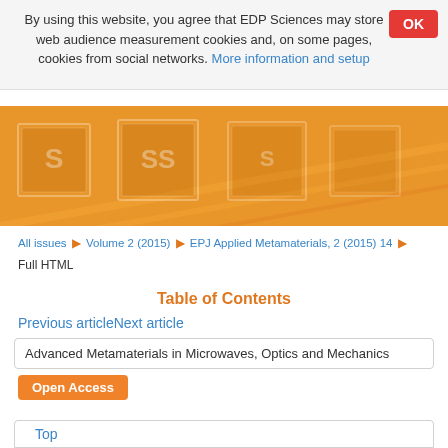By using this website, you agree that EDP Sciences may store web audience measurement cookies and, on some pages, cookies from social networks. More information and setup
All issues ▶ Volume 2 (2015) ▶ EPJ Applied Metamaterials, 2 (2015) 14 ▶
Full HTML
Table of Contents
Previous articleNext article
Advanced Metamaterials in Microwaves, Optics and Mechanics
Open Access
Top